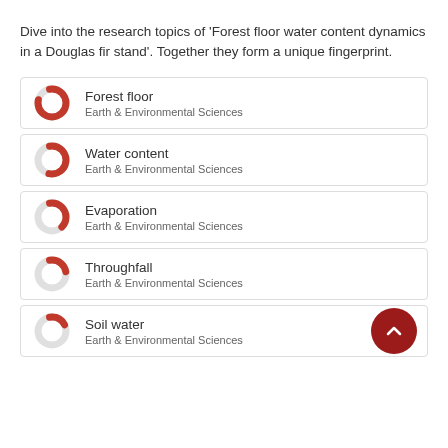Dive into the research topics of 'Forest floor water content dynamics in a Douglas fir stand'. Together they form a unique fingerprint.
Forest floor — Earth & Environmental Sciences
Water content — Earth & Environmental Sciences
Evaporation — Earth & Environmental Sciences
Throughfall — Earth & Environmental Sciences
Soil water — Earth & Environmental Sciences